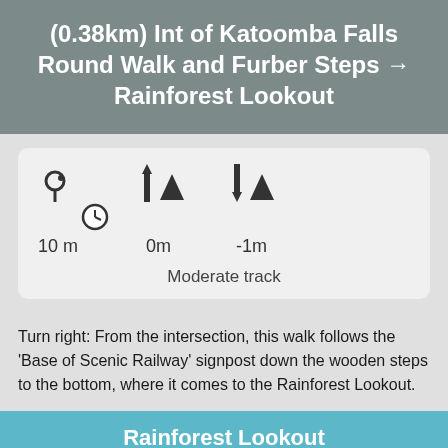(0.38km) Int of Katoomba Falls Round Walk and Furber Steps → Rainforest Lookout
[Figure (infographic): Stats card showing distance 10 m, elevation gain 0m, elevation loss -1m, and difficulty rating Moderate track, with icons for location pin, clock, ascent and descent mountain symbols]
Turn right: From the intersection, this walk follows the 'Base of Scenic Railway' signpost down the wooden steps to the bottom, where it comes to the Rainforest Lookout.
Rainforest Lookout
[Figure (photo): Photo of rainforest canopy with green tree foliage]